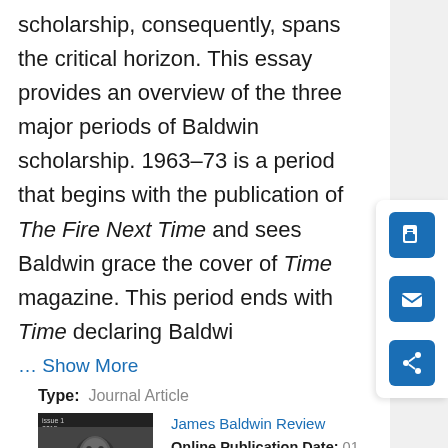scholarship, consequently, spans the critical horizon. This essay provides an overview of the three major periods of Baldwin scholarship. 1963–73 is a period that begins with the publication of The Fire Next Time and sees Baldwin grace the cover of Time magazine. This period ends with Time declaring Baldwi
… Show More
Type: Journal Article
[Figure (photo): Book cover of James Baldwin Review journal showing a black and white portrait photograph of James Baldwin]
James Baldwin Review
Online Publication Date: 01 Sep 2015
Print ISSN: 2056-9203
Online ISSN: 2056-9211
Subjects: Literature and Theatre